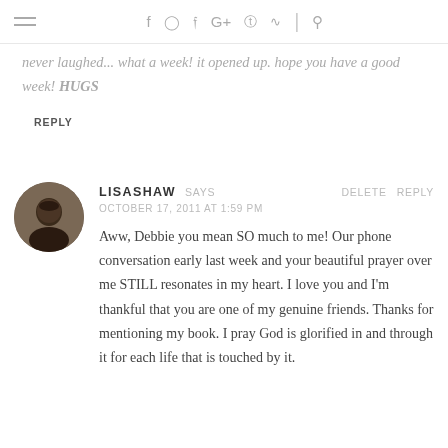navigation icons: hamburger menu, facebook, instagram, twitter, google+, pinterest, rss, search
never laughed... what a week! it opened up. hope you have a good week! HUGS
REPLY
LISASHAW SAYS  DELETE  REPLY
OCTOBER 17, 2011 AT 1:59 PM

Aww, Debbie you mean SO much to me! Our phone conversation early last week and your beautiful prayer over me STILL resonates in my heart. I love you and I'm thankful that you are one of my genuine friends. Thanks for mentioning my book. I pray God is glorified in and through it for each life that is touched by it.